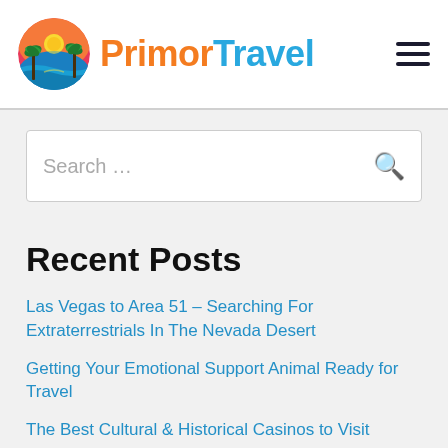PrimorTravel
Search ...
Recent Posts
Las Vegas to Area 51 – Searching For Extraterrestrials In The Nevada Desert
Getting Your Emotional Support Animal Ready for Travel
The Best Cultural & Historical Casinos to Visit
Is Colombia safe to travel to? Here is your Colombia safety guide
Where to Stay in Tucson